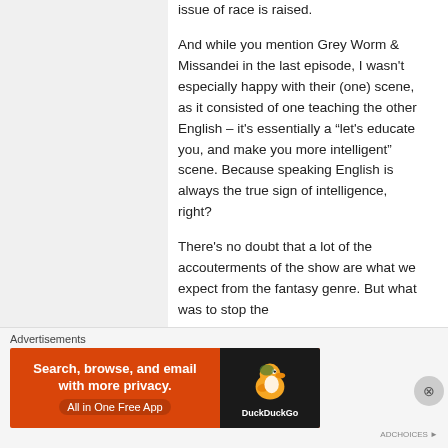issue of race is raised.
And while you mention Grey Worm & Missandei in the last episode, I wasn't especially happy with their (one) scene, as it consisted of one teaching the other English – it's essentially a “let's educate you, and make you more intelligent” scene. Because speaking English is always the true sign of intelligence, right?
There's no doubt that a lot of the accouterments of the show are what we expect from the fantasy genre. But what was to stop the
Advertisements
[Figure (other): DuckDuckGo advertisement banner: orange background with text 'Search, browse, and email with more privacy. All in One Free App' and DuckDuckGo duck logo on dark background.]